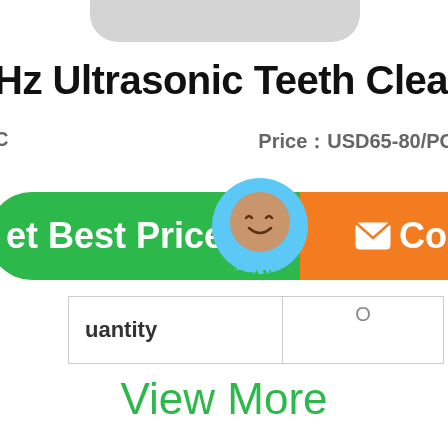[Figure (screenshot): Partial top rounded gray shape at top of page]
Hz Ultrasonic Teeth Cleaning Ma
C   PriceãUSD65-80/PC
[Figure (screenshot): Green 'Get Best Price' button and orange 'Contact' button with chat bubble overlay showing 'Chat Now']
| uantity |  |
| --- | --- |
| uantity | O |
View More